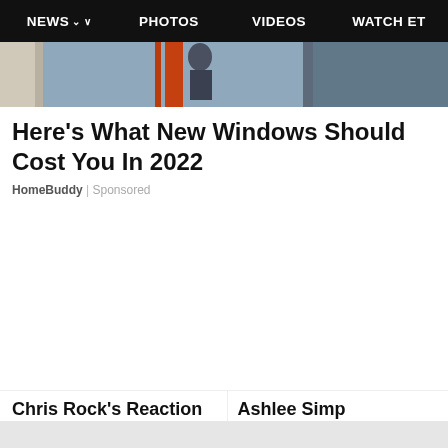NEWS  PHOTOS  VIDEOS  WATCH ET
[Figure (photo): Partial hero image showing a person on a ladder near a house, cropped at top]
Here's What New Windows Should Cost You In 2022
HomeBuddy | Sponsored
Chris Rock's Reaction to Jada Pinkett Smith's Plea for
Ashlee Simp Old Son Bro